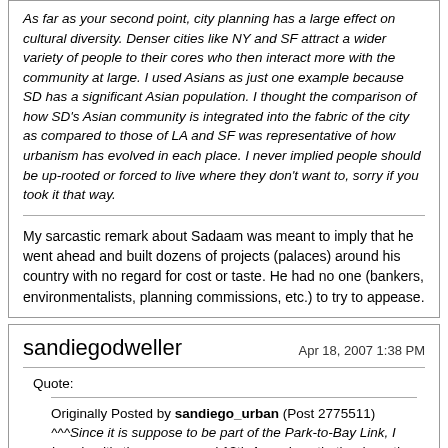As far as your second point, city planning has a large effect on cultural diversity. Denser cities like NY and SF attract a wider variety of people to their cores who then interact more with the community at large. I used Asians as just one example because SD has a significant Asian population. I thought the comparison of how SD's Asian community is integrated into the fabric of the city as compared to those of LA and SF was representative of how urbanism has evolved in each place. I never implied people should be up-rooted or forced to live where they don't want to, sorry if you took it that way.
My sarcastic remark about Sadaam was meant to imply that he went ahead and built dozens of projects (palaces) around his country with no regard for cost or taste. He had no one (bankers, environmentalists, planning commissions, etc.) to try to appease.
sandiegodweller
Apr 18, 2007 1:38 PM
Quote:
Originally Posted by sandiego_urban (Post 2775511) ^^^Since it is suppose to be part of the Park-to-Bay Link, I imagine it's the area around 13th Ave, since that's where the trolley runs. I really don't recognize any of the surrounding buildings, either. It's obviously a vision...